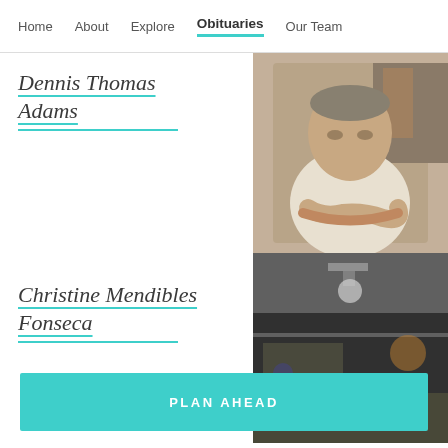Home  About  Explore  Obituaries  Our Team
Dennis Thomas Adams
[Figure (photo): Photo of an older heavyset man in a white polo shirt, seated with arms crossed, indoor setting]
Christine Mendibles Fonseca
[Figure (photo): Photo of an interior space, possibly a restaurant or bar, with ambient lighting and ceiling fixtures]
PLAN AHEAD
A death has occurred or is near